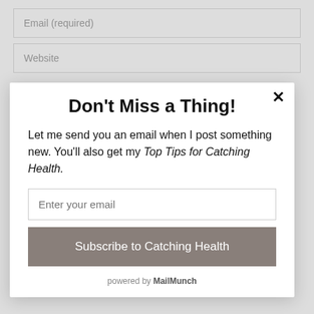Email (required)
Website
Save my name, email, and website in this browser
Don't Miss a Thing!
Let me send you an email when I post something new. You'll also get my Top Tips for Catching Health.
Enter your email
Subscribe to Catching Health
powered by MailMunch